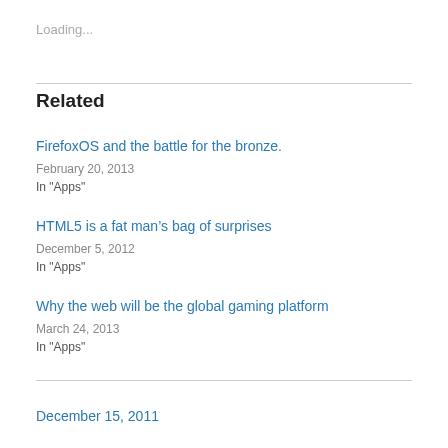Loading...
Related
FirefoxOS and the battle for the bronze.
February 20, 2013
In "Apps"
HTML5 is a fat man’s bag of surprises
December 5, 2012
In "Apps"
Why the web will be the global gaming platform
March 24, 2013
In "Apps"
December 15, 2011